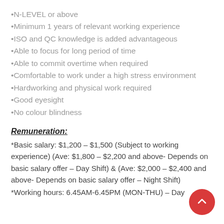•N-LEVEL or above
•Minimum 1 years of relevant working experience
•ISO and QC knowledge is added advantageous
•Able to focus for long period of time
•Able to commit overtime when required
•Comfortable to work under a high stress environment
•Hardworking and physical work required
•Good eyesight
•No colour blindness
Remuneration:
*Basic salary: $1,200 – $1,500 (Subject to working experience) (Ave: $1,800 – $2,200 and above- Depends on basic salary offer – Day Shift) & (Ave: $2,000 – $2,400 and above- Depends on basic salary offer – Night Shift)
*Working hours: 6.45AM-6.45PM (MON-THU) – Day